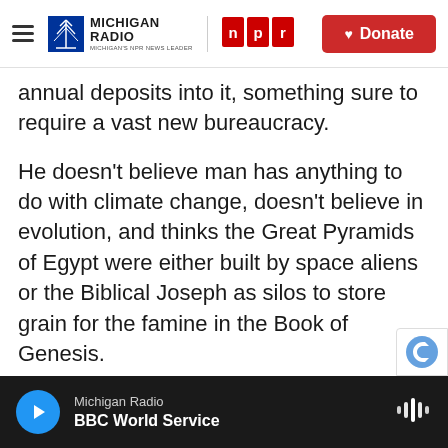Michigan Radio | NPR | Donate
annual deposits into it, something sure to require a vast new bureaucracy.
He doesn't believe man has anything to do with climate change, doesn't believe in evolution, and thinks the Great Pyramids of Egypt were either built by space aliens or the Biblical Joseph as silos to store grain for the famine in the Book of Genesis.
That's all fascinating, but scary. What's scarier is our apparent notion that you can be president without any qualifications whatsoever.
It used to be that to be taken seriously as a
Michigan Radio
BBC World Service